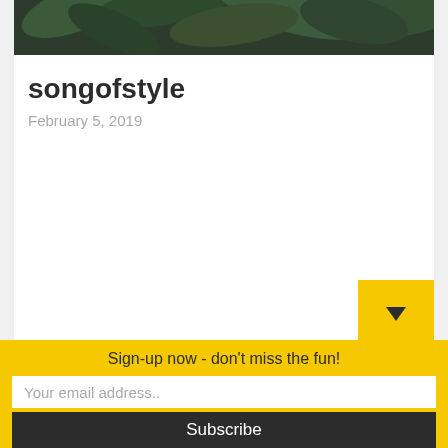[Figure (photo): Partial view of tropical green leaves/plants, dark toned photo strip at top of card]
songofstyle
February 5, 2019
Sign-up now - don't miss the fun!
Your email address..
Subscribe